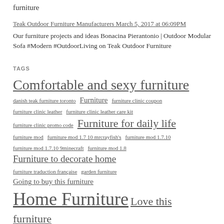furniture
Teak Outdoor Furniture Manufacturers March 5, 2017 at 06:09PM
Our furniture projects and ideas Bonacina Pierantonio | Outdoor Modular Sofa #Modern #OutdoorLiving on Teak Outdoor Furniture
TAGS
Comfortable and sexy furniture danish teak furniture toronto Furniture furniture clinic coupon furniture clinic leather furniture clinic leather care kit furniture clinic promo code Furniture for daily life furniture mod furniture mod 1.7 10 mrcrayfish's furniture mod 1.7.10 furniture mod 1.7.10 9minecraft furniture mod 1.8 Furniture to decorate home furniture traduction française garden furniture Going to buy this furniture Home Furniture Love this furniture minecraft jammy furniture mod 1.7 10 minecraft mrcrayfish furniture mod 1.7 10 Nice furniture for your home